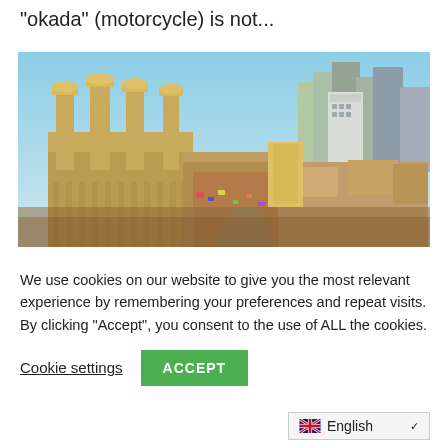"okada" (motorcycle) is not...
[Figure (photo): Aerial/elevated view of a dense urban cityscape, likely Lagos, Nigeria, showing a mosque with minarets on the left, a crowded market street in the middle, low-rise buildings and rooftops in the foreground, and modern skyscrapers in the background under a blue sky.]
We use cookies on our website to give you the most relevant experience by remembering your preferences and repeat visits. By clicking “Accept”, you consent to the use of ALL the cookies.
Cookie settings
ACCEPT
English